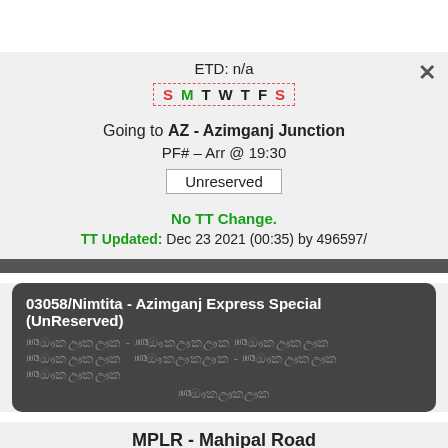ETD: n/a
S M T W T F S
Going to AZ - Azimganj Junction
PF# -- Arr @ 19:30
Unreserved
No TT Change.
TT Updated: Dec 23 2021 (00:35) by 496597/
03058/Nimtita - Azimganj Express Special (UnReserved)
MPLR - Mahipal Road
PF# -- Dep @ 19:27
ETD: n/a
S M T W T F S
Going to AZ - Azimganj Junction